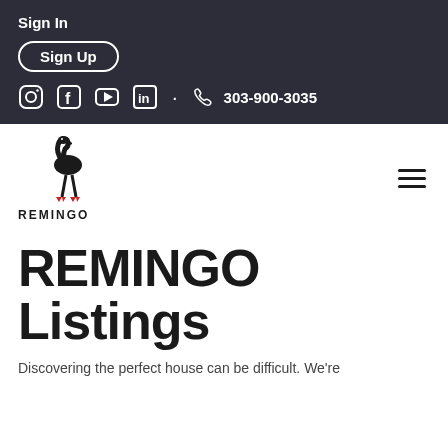Sign In
Sign Up
303-900-3035
[Figure (logo): Remingo flamingo logo with flamingo bird silhouette and red feet, text REMINGO below]
REMINGO Listings
Discovering the perfect house can be difficult. We're